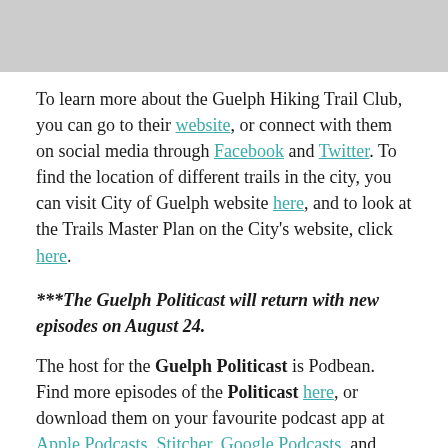[Figure (photo): Gray image placeholder at top of page]
To learn more about the Guelph Hiking Trail Club, you can go to their website, or connect with them on social media through Facebook and Twitter. To find the location of different trails in the city, you can visit City of Guelph website here, and to look at the Trails Master Plan on the City's website, click here.
***The Guelph Politicast will return with new episodes on August 24.
The host for the Guelph Politicast is Podbean. Find more episodes of the Politicast here, or download them on your favourite podcast app at Apple Podcasts, Stitcher, Google Podcasts, and Spotify.
Also, when you subscribe to the Guelph Politicast channel and you will also get an episode of Open Sources Guelph every Monday, and an